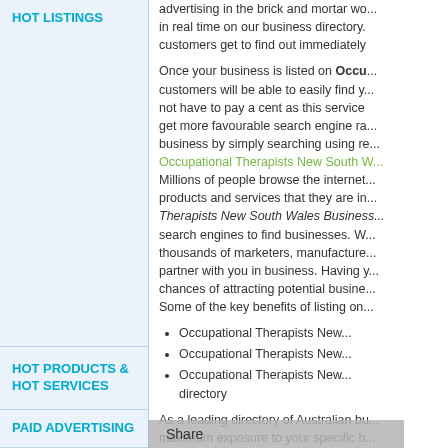HOT LISTINGS
advertising in the brick and mortar wo... in real time on our business directory. customers get to find out immediately
Once your business is listed on Occu... customers will be able to easily find y... not have to pay a cent as this service get more favourable search engine ra... business by simply searching using re... Occupational Therapists New South W... Millions of people browse the internet... products and services that they are in... Therapists New South Wales Business... search engines to find businesses. W... thousands of marketers, manufacture... partner with you in business. Having y... chances of attracting potential busine... Some of the key benefits of listing on...
Occupational Therapists New...
Occupational Therapists New...
Occupational Therapists New... directory
As a leading directory of Australian bu... maximum exposure to your specific b... further promoting your business. This completely spam-free and is human e... professional who can effectively matc... rankings.
HOT PRODUCTS & HOT SERVICES
PAID ADVERTISING
Long gone are the days when the on... advertising your brand locally mo...